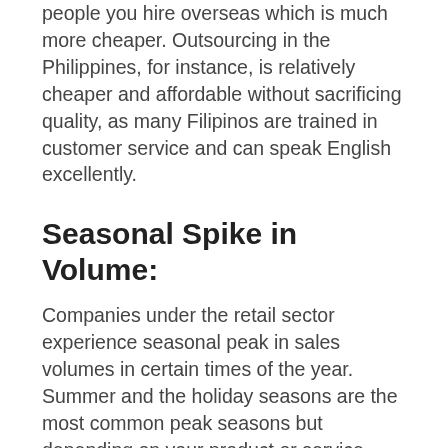people you hire overseas which is much more cheaper. Outsourcing in the Philippines, for instance, is relatively cheaper and affordable without sacrificing quality, as many Filipinos are trained in customer service and can speak English excellently.
Seasonal Spike in Volume:
Companies under the retail sector experience seasonal peak in sales volumes in certain times of the year. Summer and the holiday seasons are the most common peak seasons but depending on your product or service, more peak seasons may be experienced. This is actually a perfect time to outsource people to help your customer service. With the increase of customers and leads, it is important to think about your current employees who will be